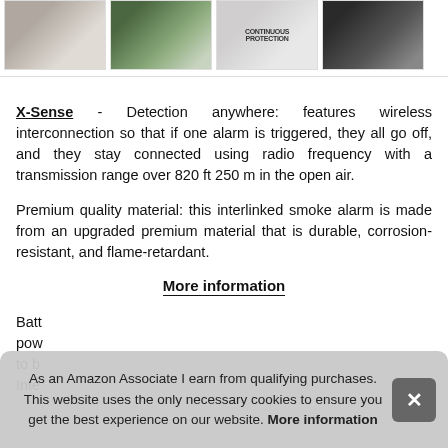[Figure (photo): Strip of four product/home images at top of page]
X-Sense - Detection anywhere: features wireless interconnection so that if one alarm is triggered, they all go off, and they stay connected using radio frequency with a transmission range over 820 ft 250 m in the open air.
Premium quality material: this interlinked smoke alarm is made from an upgraded premium material that is durable, corrosion-resistant, and flame-retardant.
More information
Batt... pow... to b... Inte...
As an Amazon Associate I earn from qualifying purchases. This website uses the only necessary cookies to ensure you get the best experience on our website. More information